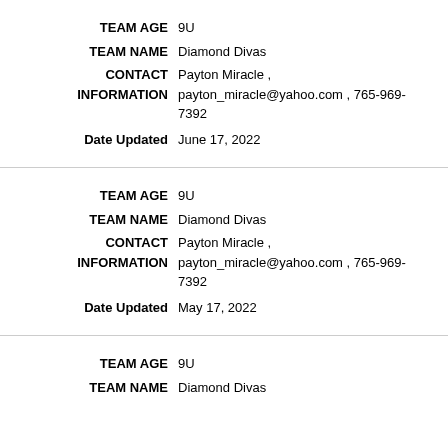TEAM AGE: 9U | TEAM NAME: Diamond Divas | CONTACT INFORMATION: Payton Miracle, payton_miracle@yahoo.com, 765-969-7392 | Date Updated: June 17, 2022
TEAM AGE: 9U | TEAM NAME: Diamond Divas | CONTACT INFORMATION: Payton Miracle, payton_miracle@yahoo.com, 765-969-7392 | Date Updated: May 17, 2022
TEAM AGE: 9U | TEAM NAME: Diamond Divas